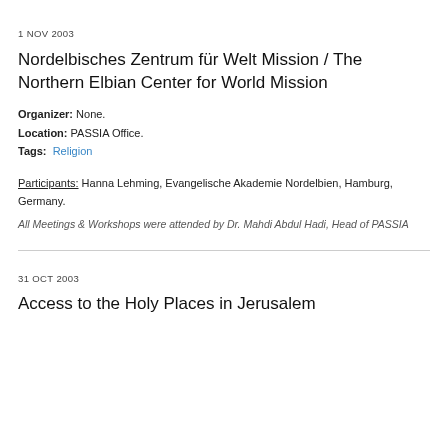1 NOV 2003
Nordelbisches Zentrum für Welt Mission / The Northern Elbian Center for World Mission
Organizer: None.
Location: PASSIA Office.
Tags: Religion
Participants: Hanna Lehming, Evangelische Akademie Nordelbien, Hamburg, Germany.
All Meetings & Workshops were attended by Dr. Mahdi Abdul Hadi, Head of PASSIA
31 OCT 2003
Access to the Holy Places in Jerusalem